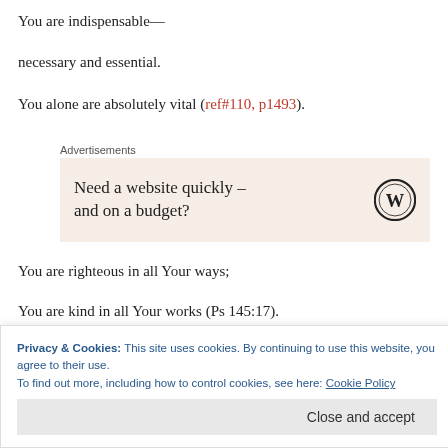You are indispensable—
necessary and essential.
You alone are absolutely vital (ref#110, p1493).
Advertisements
[Figure (other): WordPress advertisement banner: 'Need a website quickly – and on a budget?' with WordPress logo]
You are righteous in all Your ways;
You are kind in all Your works (Ps 145:17).
Privacy & Cookies: This site uses cookies. By continuing to use this website, you agree to their use.
To find out more, including how to control cookies, see here: Cookie Policy
Close and accept